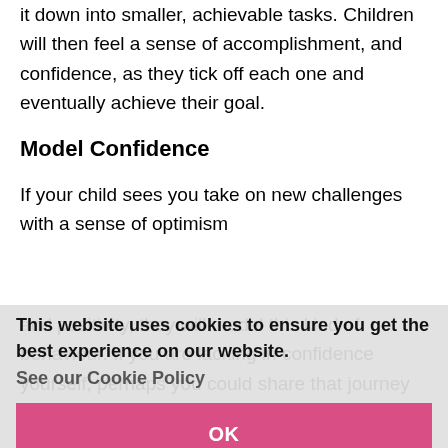it down into smaller, achievable tasks. Children will then feel a sense of accomplishment, and confidence, as they tick off each one and eventually achieve their goal.
Model Confidence
If your child sees you take on new challenges with a sense of optimism and positivity, they will model this kind of behaviour. If you are lacking in confidence yourself, perhaps you could share that journey with your child and help each other to gain confidence and try new things.
This website uses cookies to ensure you get the best experience on our website. See our Cookie Policy
Help & Support from BBO